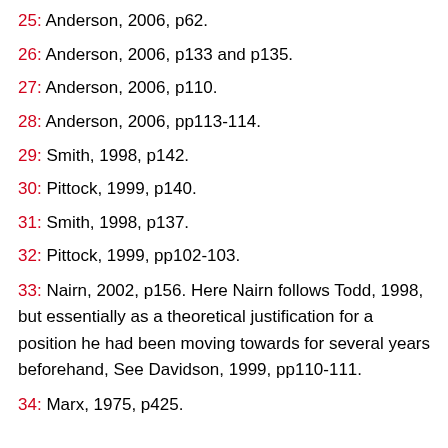25: Anderson, 2006, p62.
26: Anderson, 2006, p133 and p135.
27: Anderson, 2006, p110.
28: Anderson, 2006, pp113-114.
29: Smith, 1998, p142.
30: Pittock, 1999, p140.
31: Smith, 1998, p137.
32: Pittock, 1999, pp102-103.
33: Nairn, 2002, p156. Here Nairn follows Todd, 1998, but essentially as a theoretical justification for a position he had been moving towards for several years beforehand, See Davidson, 1999, pp110-111.
34: Marx, 1975, p425.